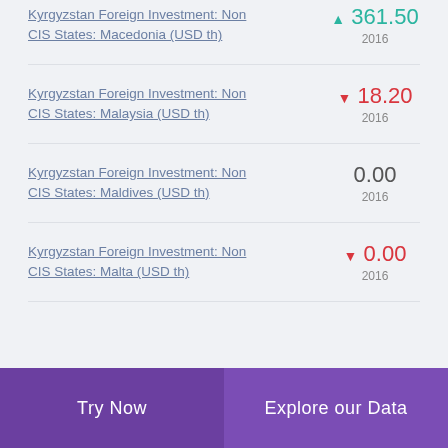Kyrgyzstan Foreign Investment: Non CIS States: Macedonia (USD th) ▲ 361.50 2016
Kyrgyzstan Foreign Investment: Non CIS States: Malaysia (USD th) ▼ 18.20 2016
Kyrgyzstan Foreign Investment: Non CIS States: Maldives (USD th) 0.00 2016
Kyrgyzstan Foreign Investment: Non CIS States: Malta (USD th) ▼ 0.00 2016
Try Now | Explore our Data